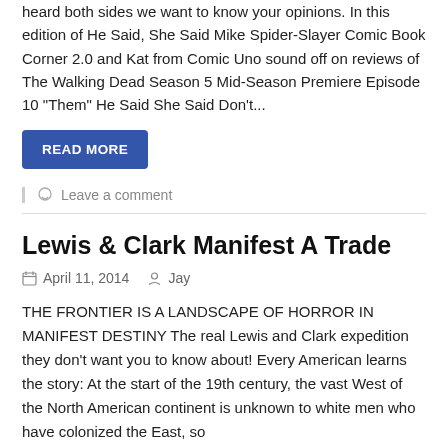heard both sides we want to know your opinions. In this edition of He Said, She Said Mike Spider-Slayer Comic Book Corner 2.0 and Kat from Comic Uno sound off on reviews of The Walking Dead Season 5 Mid-Season Premiere Episode 10 “Them” He Said She Said Don’t...
READ MORE
Leave a comment
Lewis & Clark Manifest A Trade
April 11, 2014   Jay
THE FRONTIER IS A LANDSCAPE OF HORROR IN MANIFEST DESTINY The real Lewis and Clark expedition they don’t want you to know about! Every American learns the story: At the start of the 19th century, the vast West of the North American continent is unknown to white men who have colonized the East, so